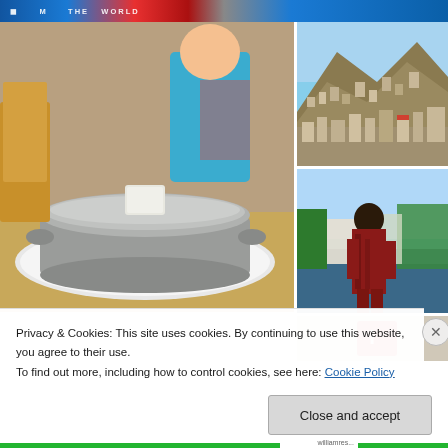[Figure (screenshot): Top website banner strip with navigation/logo area in blue and red colors]
[Figure (photo): Large photo of a silver metal pot with lid on a white plate, people seated in background at a restaurant]
[Figure (photo): Aerial/hillside view of a town with buildings on a rocky mountain slope]
[Figure (photo): Person in dark red/brown robe standing near water with palm trees in background]
[Figure (photo): Partially visible bottom-right photo, appears to show red object]
Privacy & Cookies: This site uses cookies. By continuing to use this website, you agree to their use.
To find out more, including how to control cookies, see here: Cookie Policy
Close and accept